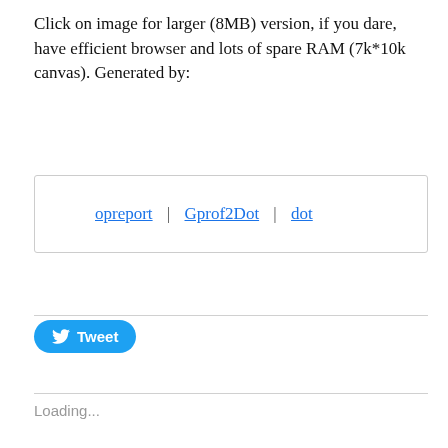Click on image for larger (8MB) version, if you dare, have efficient browser and lots of spare RAM (7k*10k canvas). Generated by:
opreport | Gprof2Dot | dot
Tweet
Loading...